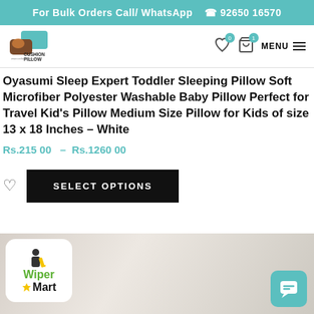For Bulk Orders Call/ WhatsApp  92650 16570
[Figure (logo): Cushion Pillow logo with teal and brown cushion graphic, text www.cushion-pillow.com]
Oyasumi Sleep Expert Toddler Sleeping Pillow Soft Microfiber Polyester Washable Baby Pillow Perfect for Travel Kid's Pillow Medium Size Pillow for Kids of size 13 x 18 Inches – White
Rs.215 00  –  Rs.1260 00
SELECT OPTIONS
[Figure (photo): Bottom section showing WiperMart logo on white rounded rectangle and a chat bubble icon on teal background, over a blurred room background]